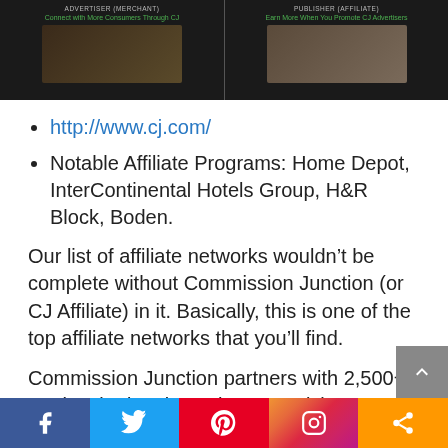[Figure (screenshot): CJ Affiliate website screenshot showing Advertiser/Merchant and Publisher/Affiliate sections with photos and taglines]
http://www.cj.com/
Notable Affiliate Programs: Home Depot, InterContinental Hotels Group, H&R Block, Boden.
Our list of affiliate networks wouldn't be complete without Commission Junction (or CJ Affiliate) in it. Basically, this is one of the top affiliate networks that you'll find.
Commission Junction partners with 2,500+ top-level advertisers that your visitors already love. This makes it easier to increase
[Figure (screenshot): Social sharing bar at bottom with Facebook, Twitter, Pinterest, Instagram, and Share buttons]